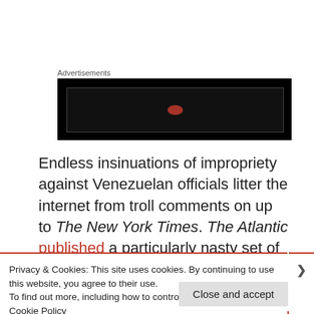Advertisements
[Figure (other): Advertisement banner block, black background with a small red oval/logo element centered inside a dark rectangle]
Endless insinuations of impropriety against Venezuelan officials litter the internet from troll comments on up to The New York Times. The Atlantic published a particularly nasty set of libels against María Gabriela Chávez, all
Privacy & Cookies: This site uses cookies. By continuing to use this website, you agree to their use.
To find out more, including how to control cookies, see here: Cookie Policy
Close and accept